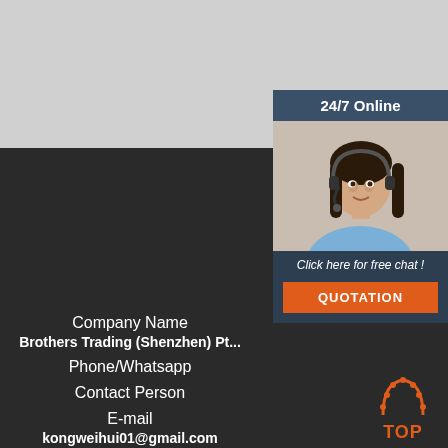[Figure (photo): Top gray/white section of webpage, blank content area]
[Figure (infographic): 24/7 Online customer service widget with photo of woman with headset, 'Click here for free chat!' tagline, and orange QUOTATION button]
Company Name
Brothers Trading (Shenzhen) Pt...
Phone/Whatsapp
Contact Person
E-mail
kongweihui01@gmail.com
Address
Unit A, of 5A floor, Block 3. Zonglv Bao Garden Building, Yinqiao New Town, BaoAn District, Shenzhen City,